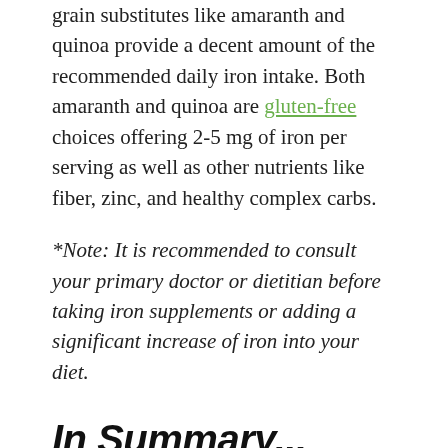grain substitutes like amaranth and quinoa provide a decent amount of the recommended daily iron intake. Both amaranth and quinoa are gluten-free choices offering 2-5 mg of iron per serving as well as other nutrients like fiber, zinc, and healthy complex carbs.
*Note: It is recommended to consult your primary doctor or dietitian before taking iron supplements or adding a significant increase of iron into your diet.
In Summary...
Iron is vital in maintaining health, but it is found in foods all around us. If you're looking to get...